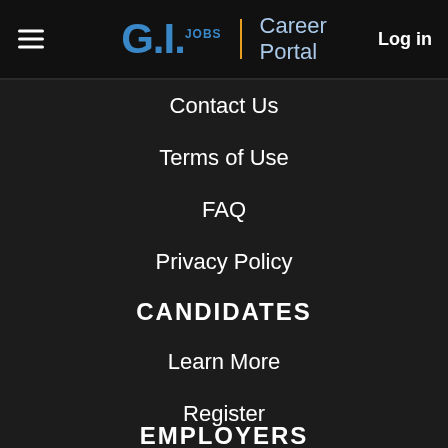G.I. JOBS | Career Portal  Log in
Contact Us
Terms of Use
FAQ
Privacy Policy
CANDIDATES
Learn More
Register
Search Jobs
EMPLOYERS